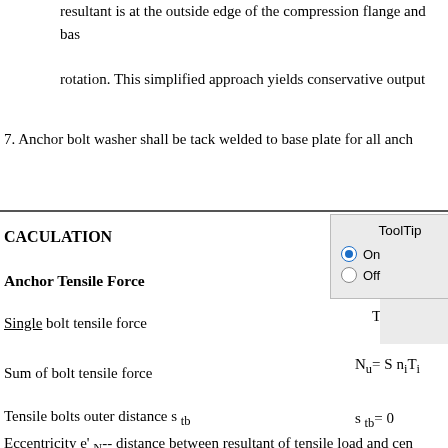resultant is at the outside edge of the compression flange and bas
rotation. This simplified approach yields conservative output
7. Anchor bolt washer shall be tack welded to base plate for all anch
CACULATION
Anchor Tensile Force
Single bolt tensile force
Sum of bolt tensile force
Tensile bolts outer distance s_tb
Eccentricity e'_N -- distance between resultant of tensile load and cen